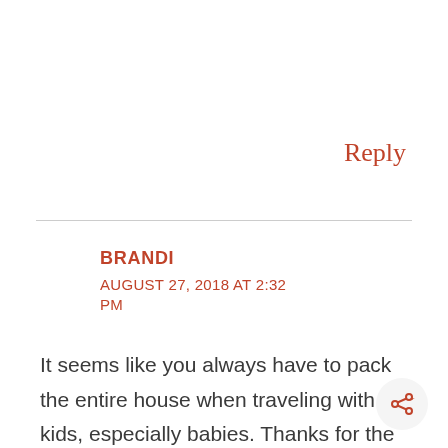Reply
BRANDI
AUGUST 27, 2018 AT 2:32 PM
It seems like you always have to pack the entire house when traveling with kids, especially babies. Thanks for the contest!